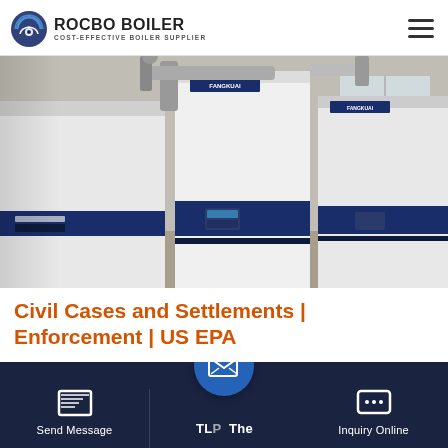ROCBO BOILER — COST-EFFECTIVE BOILER SUPPLIER
[Figure (photo): Industrial boilers installed in a room — white and dark navy blue modular boiler units (branded FANGKUAI) standing upright on a concrete floor with pipes and connections visible overhead]
Civil Cases and Settlements | Enforcement | US EPA
TLP The
Send Message
Inquiry Online